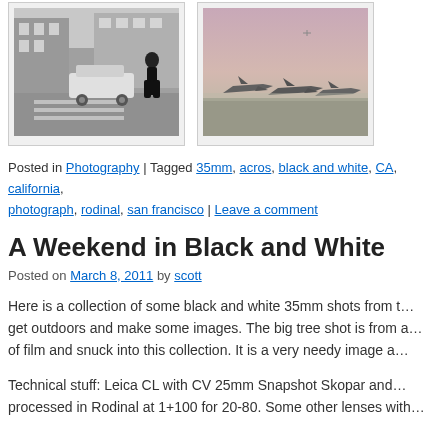[Figure (photo): Two thumbnail photographs: left is a black and white street scene with a person standing near a car at a crosswalk; right is a dusk/dawn color photo of aircraft on a tarmac with a pink sky.]
Posted in Photography | Tagged 35mm, acros, black and white, CA, california, photograph, rodinal, san francisco | Leave a comment
A Weekend in Black and White
Posted on March 8, 2011 by scott
Here is a collection of some black and white 35mm shots from t… get outdoors and make some images. The big tree shot is from a… of film and snuck into this collection. It is a very needy image a…
Technical stuff: Leica CL with CV 25mm Snapshot Skopar and… processed in Rodinal at 1+100 for 20-80. Some other lenses with…